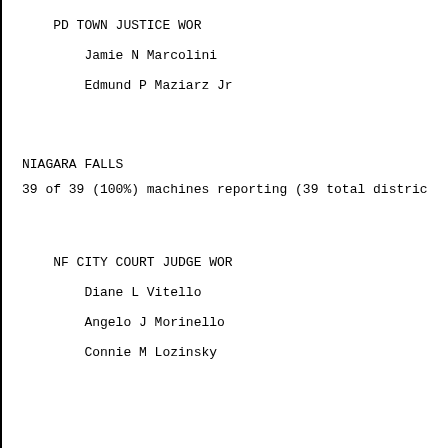PD TOWN JUSTICE WOR
Jamie N Marcolini
Edmund P Maziarz Jr
NIAGARA FALLS
39 of 39 (100%) machines reporting (39 total distric
NF CITY COURT JUDGE WOR
Diane L Vitello
Angelo J Morinello
Connie M Lozinsky